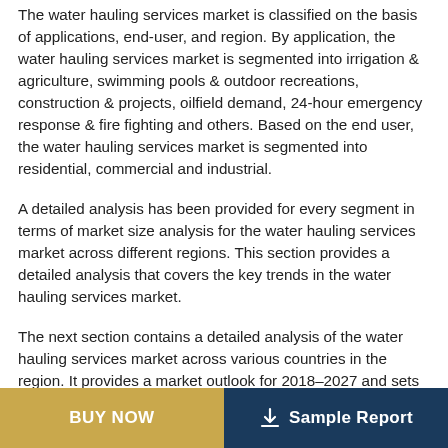The water hauling services market is classified on the basis of applications, end-user, and region. By application, the water hauling services market is segmented into irrigation & agriculture, swimming pools & outdoor recreations, construction & projects, oilfield demand, 24-hour emergency response & fire fighting and others. Based on the end user, the water hauling services market is segmented into residential, commercial and industrial.
A detailed analysis has been provided for every segment in terms of market size analysis for the water hauling services market across different regions. This section provides a detailed analysis that covers the key trends in the water hauling services market.
The next section contains a detailed analysis of the water hauling services market across various countries in the region. It provides a market outlook for 2018–2027 and sets the forecast within the context of the water hauling services market, which includes the latest innovations as well as offerings in the water hauling services market. This study
BUY NOW   Sample Report